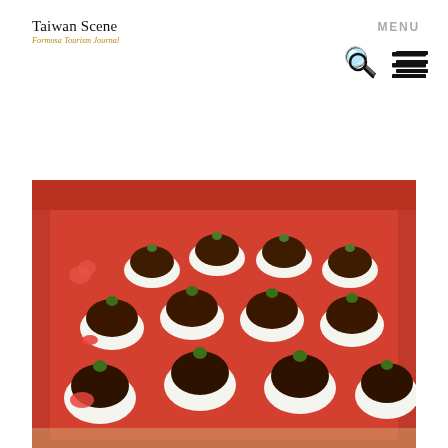Taiwan Scene — Formosa Tourism Journal
Taiwan Scene
Better Travel. Better Living.
[Figure (photo): Box of heart-shaped chocolate-covered strawberries arranged in rows inside a red gift box with white heart patterns, each strawberry in a white paper cup]